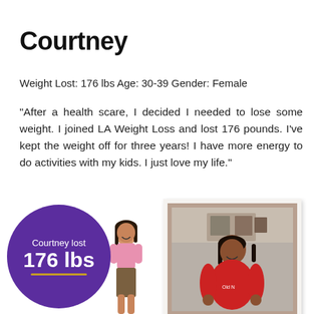Courtney
Weight Lost: 176 lbs Age: 30-39 Gender: Female
"After a health scare, I decided I needed to lose some weight. I joined LA Weight Loss and lost 176 pounds. I've kept the weight off for three years! I have more energy to do activities with my kids. I just love my life."
[Figure (photo): Before and after weight loss photos of Courtney with a purple badge reading 'Courtney lost 176 lbs'. After photo shows slim woman in pink top; before photo shows larger woman in red shirt.]